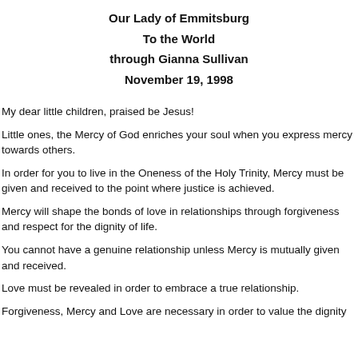Our Lady of Emmitsburg
To the World
through Gianna Sullivan
November 19, 1998
My dear little children, praised be Jesus!
Little ones, the Mercy of God enriches your soul when you express mercy towards others.
In order for you to live in the Oneness of the Holy Trinity, Mercy must be given and received to the point where justice is achieved.
Mercy will shape the bonds of love in relationships through forgiveness and respect for the dignity of life.
You cannot have a genuine relationship unless Mercy is mutually given and received.
Love must be revealed in order to embrace a true relationship.
Forgiveness, Mercy and Love are necessary in order to value the dignity